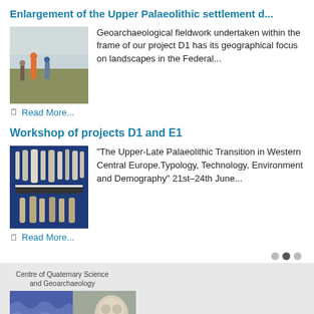Enlargement of the Upper Palaeolithic settlement d...
[Figure (photo): Researchers doing geoarchaeological fieldwork on a flat field]
Geoarchaeological fieldwork undertaken within the frame of our project D1 has its geographical focus on landscapes in the Federal...
Read More...
Workshop of projects D1 and E1
[Figure (photo): Archaeological stone tools arranged on blue background with ruler]
“The Upper-Late Palaeolithic Transition in Western Central Europe.Typology, Technology, Environment and Demography” 21st–24th June...
Read More...
[Figure (logo): Centre of Quaternary Science and Geoarchaeology logo with four colored quadrant images]
[Figure (other): Back to top button with upward arrow]